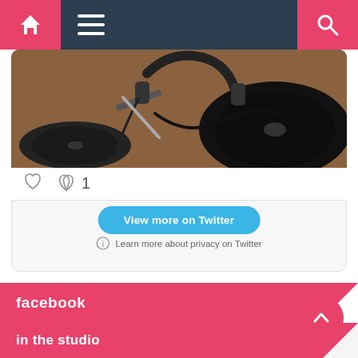Navigation bar with home, menu, and search icons
[Figure (photo): Photo of DJ turntables and headphones on a wooden surface, partially cropped at top]
♡ 1
View more on Twitter
Learn more about privacy on Twitter
facebook
in the studio